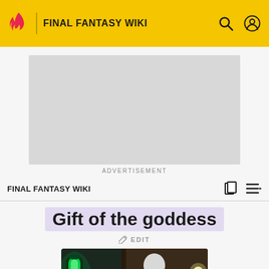FINAL FANTASY WIKI
[Figure (other): Advertisement placeholder - grey rectangle]
ADVERTISEMENT
FINAL FANTASY WIKI
Gift of the goddess
EDIT
[Figure (screenshot): Game screenshot showing a character in white robes and another in red/dark clothing near a glowing green cylindrical object]